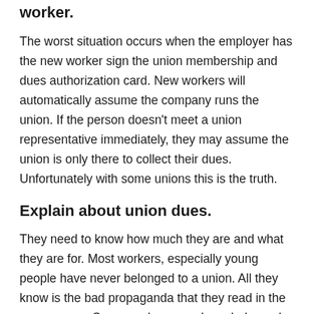worker.
The worst situation occurs when the employer has the new worker sign the union membership and dues authorization card. New workers will automatically assume the company runs the union. If the person doesn't meet a union representative immediately, they may assume the union is only there to collect their dues. Unfortunately with some unions this is the truth.
Explain about union dues.
They need to know how much they are and what they are for. Most workers, especially young people have never belonged to a union. All they know is the bad propaganda that they read in the newspapers. Some workers may have belonged to a corrupt or do-nothing union, so it is important to explain how UE is different. Tell them about the yearly National Convention and District Council meetings.